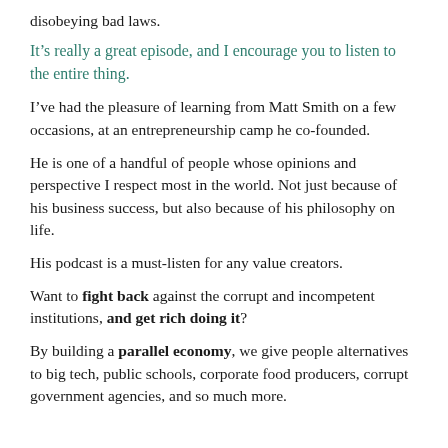disobeying bad laws.
It’s really a great episode, and I encourage you to listen to the entire thing.
I’ve had the pleasure of learning from Matt Smith on a few occasions, at an entrepreneurship camp he co-founded.
He is one of a handful of people whose opinions and perspective I respect most in the world. Not just because of his business success, but also because of his philosophy on life.
His podcast is a must-listen for any value creators.
Want to fight back against the corrupt and incompetent institutions, and get rich doing it?
By building a parallel economy, we give people alternatives to big tech, public schools, corporate food producers, corrupt government agencies, and so much more.